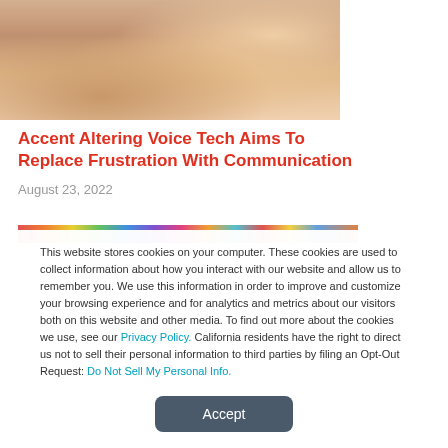[Figure (photo): Partial photo of a woman talking on a phone, cropped at top of page]
Accent Altering Voice Tech Aims To Replace Frustration With Communication
August 23, 2022
[Figure (photo): Colorful image strip partially visible behind cookie consent overlay]
This website stores cookies on your computer. These cookies are used to collect information about how you interact with our website and allow us to remember you. We use this information in order to improve and customize your browsing experience and for analytics and metrics about our visitors both on this website and other media. To find out more about the cookies we use, see our Privacy Policy. California residents have the right to direct us not to sell their personal information to third parties by filing an Opt-Out Request: Do Not Sell My Personal Info.